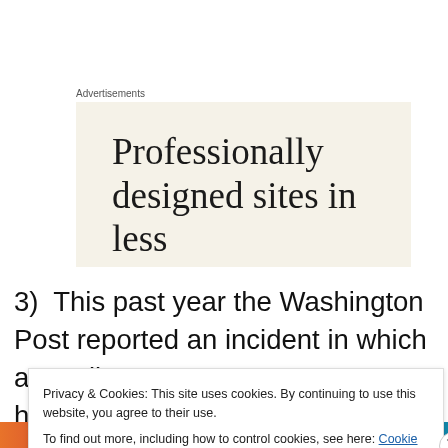Advertisements
[Figure (other): Advertisement banner with beige background showing text: Professionally designed sites in less than a week]
3)  This past year the Washington Post reported an incident in which a Muslim young woman was harassed by a black male “Christian” security guard because she
Privacy & Cookies: This site uses cookies. By continuing to use this website, you agree to their use.
To find out more, including how to control cookies, see here: Cookie Policy
Close and accept